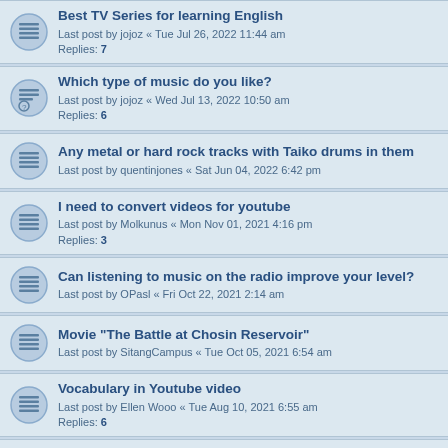Best TV Series for learning English
Last post by jojoz « Tue Jul 26, 2022 11:44 am
Replies: 7
Which type of music do you like?
Last post by jojoz « Wed Jul 13, 2022 10:50 am
Replies: 6
Any metal or hard rock tracks with Taiko drums in them
Last post by quentinjones « Sat Jun 04, 2022 6:42 pm
I need to convert videos for youtube
Last post by Molkunus « Mon Nov 01, 2021 4:16 pm
Replies: 3
Can listening to music on the radio improve your level?
Last post by OPasl « Fri Oct 22, 2021 2:14 am
Movie "The Battle at Chosin Reservoir"
Last post by SitangCampus « Tue Oct 05, 2021 6:54 am
Vocabulary in Youtube video
Last post by Ellen Wooo « Tue Aug 10, 2021 6:55 am
Replies: 6
How was an English Song created by a Chinese junior middle schoolgirl
Last post by Ellen Wooo « Tue Aug 10, 2021 6:53 am
Replies: 1
A problem is arising when watching Tv series on Youtube
Last post by jiangjiang « Thu Jun 24, 2021 10:01 am
Replies: 2
Is there any song made you cry??????